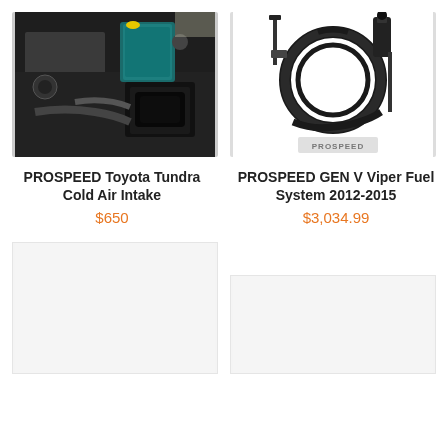[Figure (photo): Photo of a vehicle engine bay with a cold air intake system installed, dark-colored box filter visible]
[Figure (photo): Photo of a PROSPEED fuel system kit laid out on white background, showing hoses and components with PROSPEED logo]
PROSPEED Toyota Tundra Cold Air Intake
$650
PROSPEED GEN V Viper Fuel System 2012-2015
$3,034.99
[Figure (photo): Partially visible product image placeholder (light gray)]
[Figure (photo): Partially visible product image placeholder (light gray)]